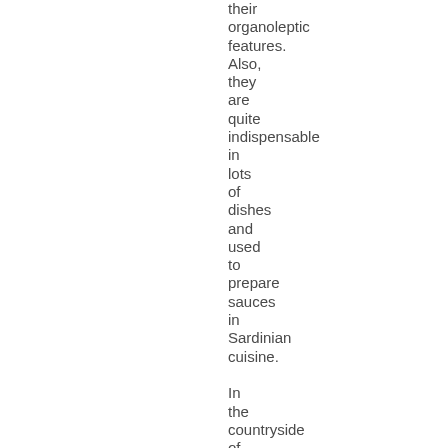their organoleptic features. Also, they are quite indispensable in lots of dishes and used to prepare sauces in Sardinian cuisine. In the countryside of Middle Campidano, tomato cultivation is widespread. Along country